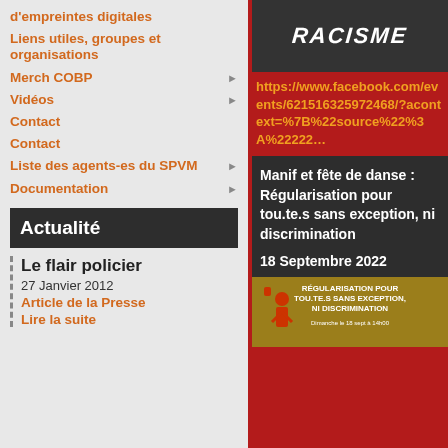d'empreintes digitales
Liens utiles, groupes et organisations
Merch COBP
Vidéos
Contact
Contact
Liste des agents-es du SPVM
Documentation
Actualité
Le flair policier
27 Janvier 2012
Article de la Presse
Lire la suite
[Figure (photo): Image with text RACISME on dark background]
https://www.facebook.com/events/621516325972468/?acontext=%7B%22source%22%3A%22222…
Manif et fête de danse : Régularisation pour tou.te.s sans exception, ni discrimination
18 Septembre 2022
[Figure (photo): Event poster for Régularisation pour tou.te.s sans exception, ni discrimination, showing a person with raised fist and banner text]